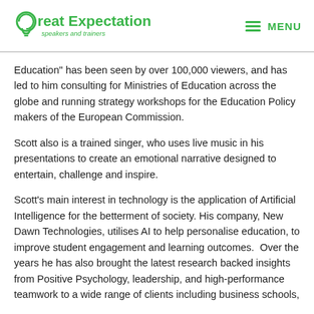Great Expectation speakers and trainers | MENU
Education" has been seen by over 100,000 viewers, and has led to him consulting for Ministries of Education across the globe and running strategy workshops for the Education Policy makers of the European Commission.
Scott also is a trained singer, who uses live music in his presentations to create an emotional narrative designed to entertain, challenge and inspire.
Scott's main interest in technology is the application of Artificial Intelligence for the betterment of society. His company, New Dawn Technologies, utilises AI to help personalise education, to improve student engagement and learning outcomes.  Over the years he has also brought the latest research backed insights from Positive Psychology, leadership, and high-performance teamwork to a wide range of clients including business schools,